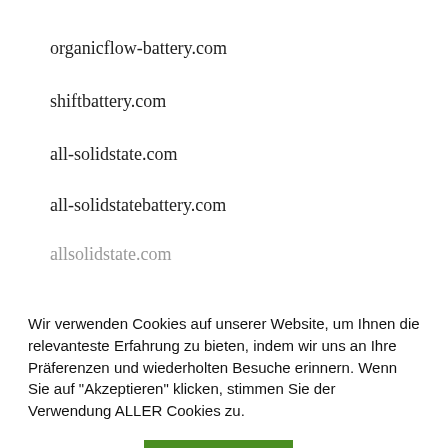organicflow-battery.com
shiftbattery.com
all-solidstate.com
all-solidstatebattery.com
allsolidstate.com
Wir verwenden Cookies auf unserer Website, um Ihnen die relevanteste Erfahrung zu bieten, indem wir uns an Ihre Präferenzen und wiederholten Besuche erinnern. Wenn Sie auf "Akzeptieren" klicken, stimmen Sie der Verwendung ALLER Cookies zu.
Einstellungen
Akzeptieren